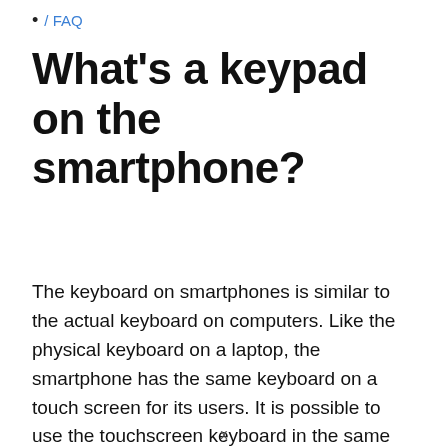/ FAQ
What's a keypad on the smartphone?
The keyboard on smartphones is similar to the actual keyboard on computers. Like the physical keyboard on a laptop, the smartphone has the same keyboard on a touch screen for its users. It is possible to use the touchscreen keyboard in the same
x